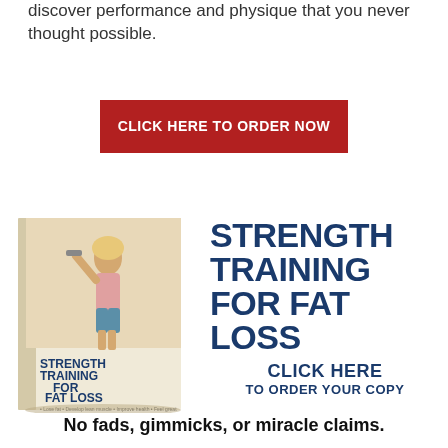discover performance and physique that you never thought possible.
CLICK HERE TO ORDER NOW
[Figure (illustration): Book cover of 'Strength Training for Fat Loss' by Nick Tumminello showing a woman lifting dumbbells]
STRENGTH TRAINING FOR FAT LOSS
CLICK HERE TO ORDER YOUR COPY
No fads, gimmicks, or miracle claims.